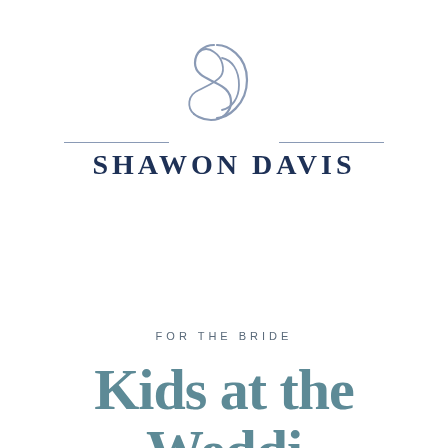[Figure (logo): Shawon Davis logo with intertwined S and D monogram above horizontal lines and brand name text]
FOR THE BRIDE
Kids at the Wedding